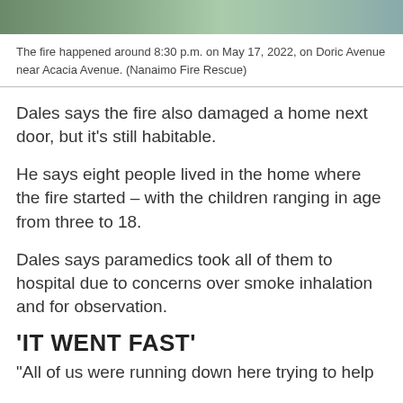[Figure (photo): Partial view of a photo showing a street scene near Doric Avenue, greenery and pavement visible.]
The fire happened around 8:30 p.m. on May 17, 2022, on Doric Avenue near Acacia Avenue. (Nanaimo Fire Rescue)
Dales says the fire also damaged a home next door, but it’s still habitable.
He says eight people lived in the home where the fire started – with the children ranging in age from three to 18.
Dales says paramedics took all of them to hospital due to concerns over smoke inhalation and for observation.
'IT WENT FAST'
"All of us were running down here trying to help